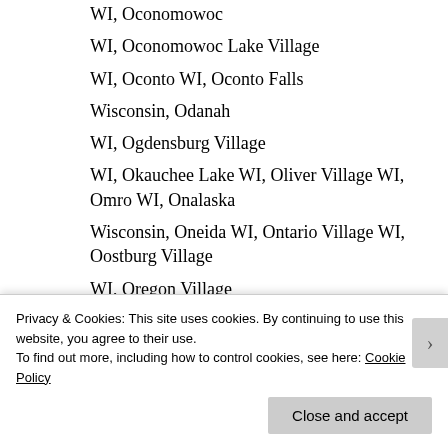WI, Oconomowoc
WI, Oconomowoc Lake Village
WI, Oconto WI, Oconto Falls
Wisconsin, Odanah
WI, Ogdensburg Village
WI, Okauchee Lake WI, Oliver Village WI, Omro WI, Onalaska
Wisconsin, Oneida WI, Ontario Village WI, Oostburg Village
WI, Oregon Village
Privacy & Cookies: This site uses cookies. By continuing to use this website, you agree to their use.
To find out more, including how to control cookies, see here: Cookie Policy
Close and accept